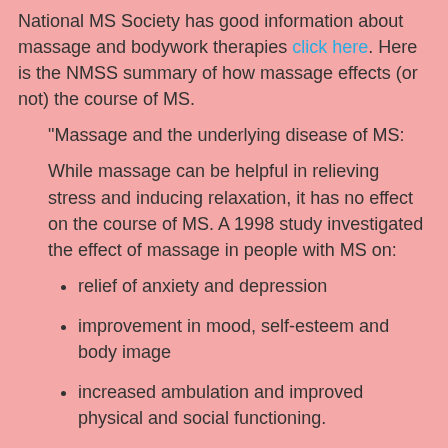National MS Society has good information about massage and bodywork therapies click here. Here is the NMSS summary of how massage effects (or not) the course of MS.
"Massage and the underlying disease of MS:
While massage can be helpful in relieving stress and inducing relaxation, it has no effect on the course of MS. A 1998 study investigated the effect of massage in people with MS on:
relief of anxiety and depression
improvement in mood, self-esteem and body image
increased ambulation and improved physical and social functioning.
The study used self-reports by the participants and found that, at the end of a five-week period, physical and social activity had improved in the people receiving massage. Those in the